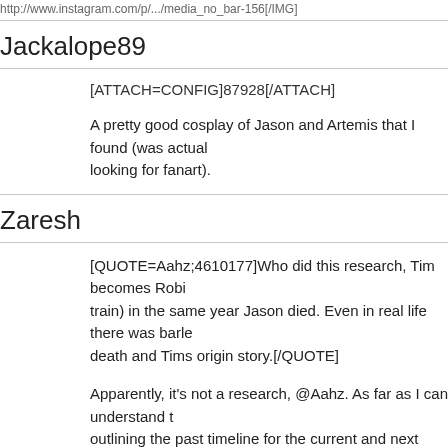http://www.instagram.com/p/...#p=1[/IMG]
Jackalope89
[ATTACH=CONFIG]87928[/ATTACH]
A pretty good cosplay of Jason and Artemis that I found (was actually looking for fanart).
Zaresh
[QUOTE=Aahz;4610177]Who did this research, Tim becomes Robin (train) in the same year Jason died. Even in real life there was barley death and Tims origin story.[/QUOTE]
Apparently, it's not a research, @Aahz. As far as I can understand the outlining the past timeline for the current and next years continuity. I apparently, too.
Sergard